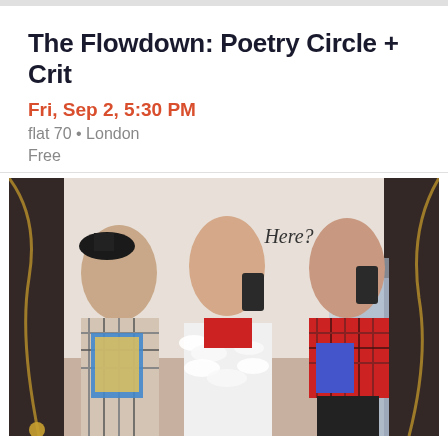The Flowdown: Poetry Circle + Crit
Fri, Sep 2, 5:30 PM
flat 70 • London
Free
[Figure (photo): Three young women dressed in stylish 90s fashion standing on a staircase, each holding mobile phones. The woman on the left wears a plaid outfit and a hat, the woman in the center wears a white feather-trimmed outfit, and the woman on the right wears a red plaid top. The word 'Here?' appears in script above them.]
S... S... O... Ti...